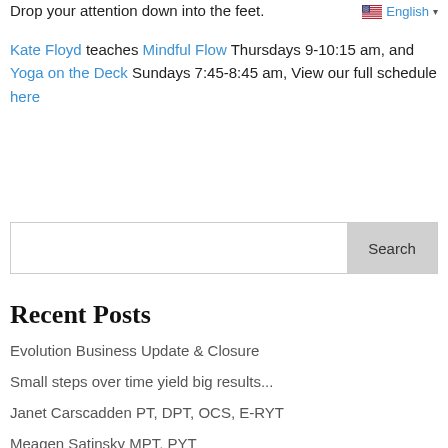Drop your attention down into the feet.
English
Kate Floyd teaches Mindful Flow Thursdays 9-10:15 am, and Yoga on the Deck Sundays 7:45-8:45 am, View our full schedule here
Search
Recent Posts
Evolution Business Update & Closure
Small steps over time yield big results...
Janet Carscadden PT, DPT, OCS, E-RYT
Meagen Satinsky MPT, PYT
Michelle Downing DPT, OCS, CFMT, RYT